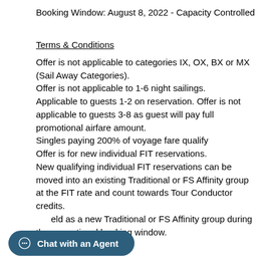Booking Window: August 8, 2022 - Capacity Controlled
Terms & Conditions
Offer is not applicable to categories IX, OX, BX or MX (Sail Away Categories).
Offer is not applicable to 1-6 night sailings.
Applicable to guests 1-2 on reservation. Offer is not applicable to guests 3-8 as guest will pay full promotional airfare amount.
Singles paying 200% of voyage fare qualify
Offer is for new individual FIT reservations.
New qualifying individual FIT reservations can be moved into an existing Traditional or FS Affinity group at the FIT rate and count towards Tour Conductor credits.
...eld as a new Traditional or FS ...ne promotional booking window.